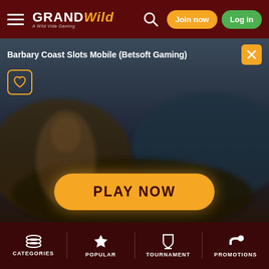GrandWild casino header with hamburger menu, logo, search, Join now, Log in buttons
[Figure (screenshot): Barbary Coast Slots Mobile game screenshot with blurred background showing a pirate character]
Barbary Coast Slots Mobile (Betsoft Gaming)
PLAY NOW
This site uses cookies. For more information please refer to our Privacy Policy & Cookie Policy
Learn more
I agree
CATEGORIES | POPULAR | TOURNAMENT | PROMOTIONS